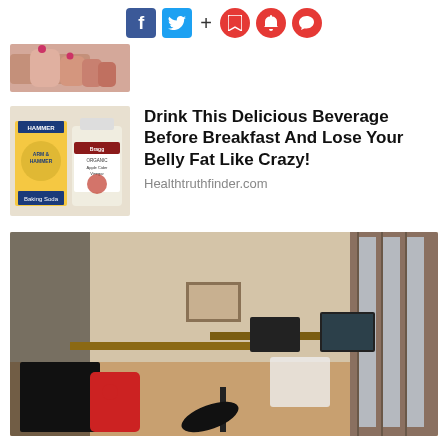[Figure (screenshot): Social media sharing icons: Facebook (blue), Twitter (blue), plus sign, and three red circular icons for save/notification/comment]
[Figure (photo): Partial thumbnail of a person's hands, cropped at top]
[Figure (photo): Thumbnail image of Arm & Hammer baking soda box and Apple Cider Vinegar bottle]
Drink This Delicious Beverage Before Breakfast And Lose Your Belly Fat Like Crazy!
Healthtruthfinder.com
[Figure (photo): Wide photo of a modern office workspace with desks, computers, lamps, chairs, and large windows]